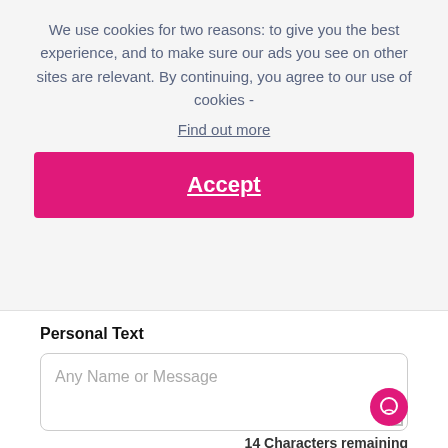We use cookies for two reasons: to give you the best experience, and to make sure our ads you see on other sites are relevant. By continuing, you agree to our use of cookies - Find out more
Accept
Personal Text
Any Name or Message
14 Characters remaining
Quantity
1